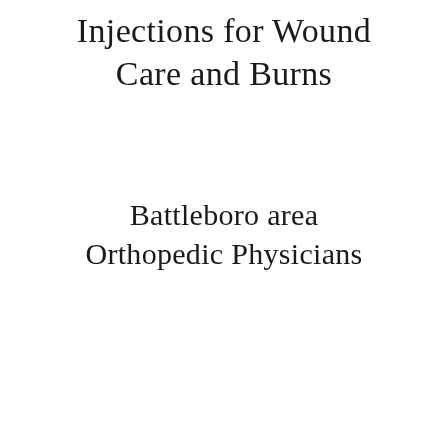Injections for Wound Care and Burns
Battleboro area Orthopedic Physicians